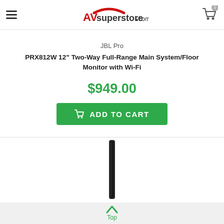AVsuperstore.com
JBL Pro
PRX812W 12" Two-Way Full-Range Main System/Floor Monitor with Wi-Fi
$949.00
ADD TO CART
[Figure (photo): Product image of a tall, slim black speaker column/array speaker against white background]
Top